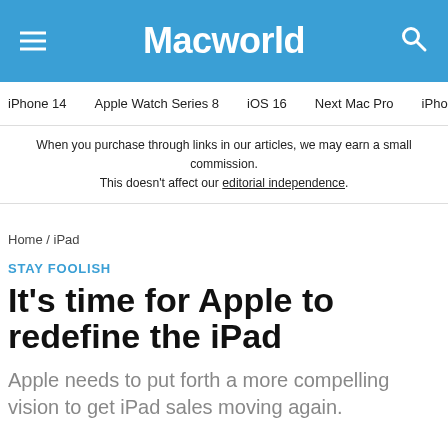Macworld
iPhone 14   Apple Watch Series 8   iOS 16   Next Mac Pro   iPhone d
When you purchase through links in our articles, we may earn a small commission. This doesn't affect our editorial independence.
Home / iPad
STAY FOOLISH
It's time for Apple to redefine the iPad
Apple needs to put forth a more compelling vision to get iPad sales moving again.